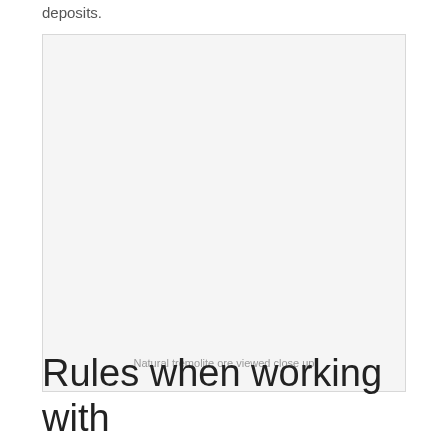deposits.
[Figure (photo): Natural tremolite ore viewed close up — large light grey box placeholder image with caption inside at bottom]
Natural tremolite ore viewed close up
Rules when working with